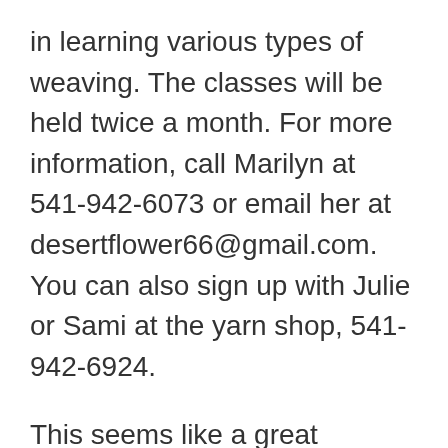in learning various types of weaving. The classes will be held twice a month. For more information, call Marilyn at 541-942-6073 or email her at desertflower66@gmail.com. You can also sign up with Julie or Sami at the yarn shop, 541-942-6924.
This seems like a great opportunity to remind everyone of the rug hookery group that has been meeting in Lorane this past year. They meet twice monthly. The evening meetings are on the first Thursday every month from 6:00 to 7:30 p.m. at the Lorane Fire Hall and daytime meetings are on the third Wednesday of each